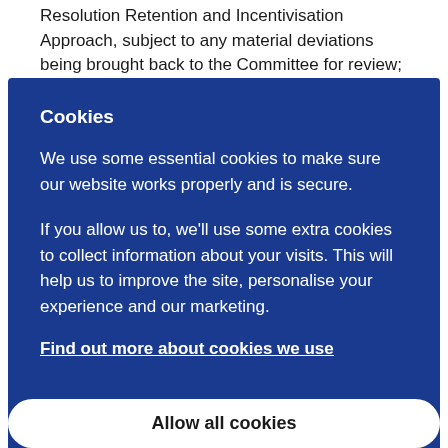Resolution Retention and Incentivisation Approach, subject to any material deviations being brought back to the Committee for review;
Cookies
We use some essential cookies to make sure our website works properly and is secure.
If you allow us to, we'll use some extra cookies to collect information about your visits. This will help us to improve the site, personalise your experience and our marketing.
Find out more about cookies we use
Allow all cookies